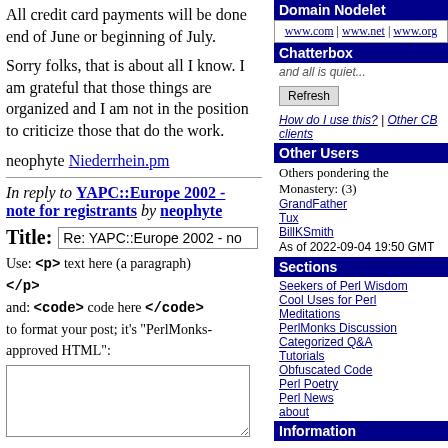All credit card payments will be done end of June or beginning of July.
Sorry folks, that is about all I know. I am grateful that those things are organized and I am not in the position to criticize those that do the work.
neophyte Niederrhein.pm
In reply to YAPC::Europe 2002 - note for registrants by neophyte
Title: Re: YAPC::Europe 2002 - no
Use: <p> text here (a paragraph) </p>
and: <code> code here </code>
to format your post; it's "PerlMonks-approved HTML":
Domain Nodelet
www.com | www.net | www.org
Chatterbox
and all is quiet...
Refresh
How do I use this? | Other CB clients
Other Users
Others pondering the Monastery: (3)
GrandFather
Tux
BillKSmith
As of 2022-09-04 19:50 GMT
Sections
Seekers of Perl Wisdom
Cool Uses for Perl
Meditations
PerlMonks Discussion
Categorized Q&A
Tutorials
Obfuscated Code
Perl Poetry
Perl News
about
Information